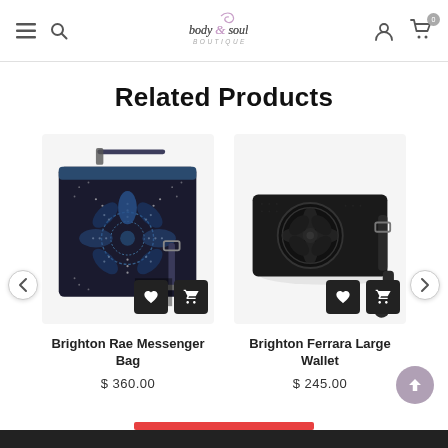body & soul boutique
Related Products
[Figure (photo): Brighton Rae Messenger Bag – black crossbody bag with blue floral studded design]
Brighton Rae Messenger Bag
$ 360.00
[Figure (photo): Brighton Ferrara Large Wallet – black leather wallet/wristlet with circular embossed medallion]
Brighton Ferrara Large Wallet
$ 245.00